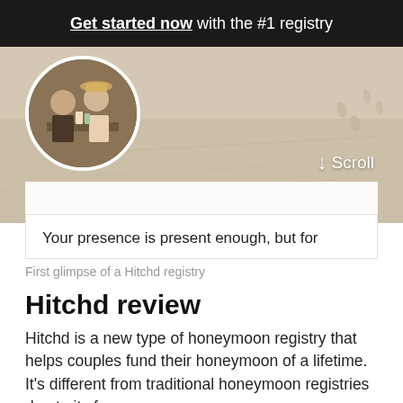Get started now with the #1 registry
[Figure (photo): Beach background with a circular profile photo of a couple at a cafe/outdoor setting, and a Scroll label with down arrow in the bottom right]
Your presence is present enough, but for
First glimpse of a Hitchd registry
Hitchd review
Hitchd is a new type of honeymoon registry that helps couples fund their honeymoon of a lifetime. It's different from traditional honeymoon registries due to its focus on